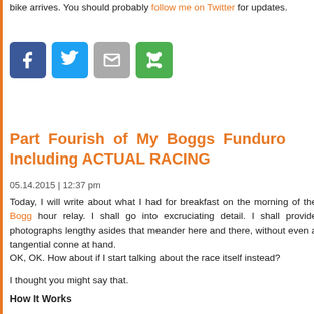bike arrives. You should probably follow me on Twitter for updates.
[Figure (other): Social sharing icons: Facebook (blue), Twitter (light blue), Email (grey), Share (green)]
Part Fourish of My Boggs Funduro Including ACTUAL RACING
05.14.2015 | 12:37 pm
Today, I will write about what I had for breakfast on the morning of the Bogg hour relay. I shall go into excruciating detail. I shall provide photographs lengthy asides that meander here and there, without even a tangential conne at hand.
OK, OK. How about if I start talking about the race itself instead?
I thought you might say that.
How It Works